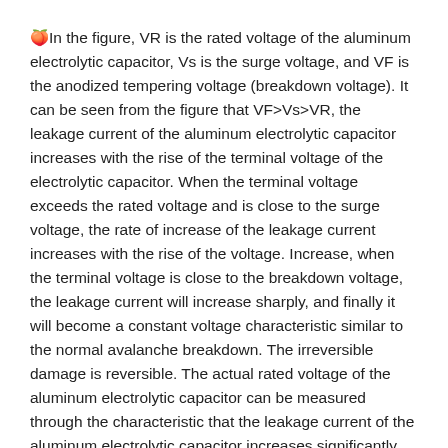🍑In the figure, VR is the rated voltage of the aluminum electrolytic capacitor, Vs is the surge voltage, and VF is the anodized tempering voltage (breakdown voltage). It can be seen from the figure that VF>Vs>VR, the leakage current of the aluminum electrolytic capacitor increases with the rise of the terminal voltage of the electrolytic capacitor. When the terminal voltage exceeds the rated voltage and is close to the surge voltage, the rate of increase of the leakage current increases with the rise of the voltage. Increase, when the terminal voltage is close to the breakdown voltage, the leakage current will increase sharply, and finally it will become a constant voltage characteristic similar to the normal avalanche breakdown. The irreversible damage is reversible. The actual rated voltage of the aluminum electrolytic capacitor can be measured through the characteristic that the leakage current of the aluminum electrolytic capacitor increases significantly after the capacitor terminal voltage is close to the surge voltage.